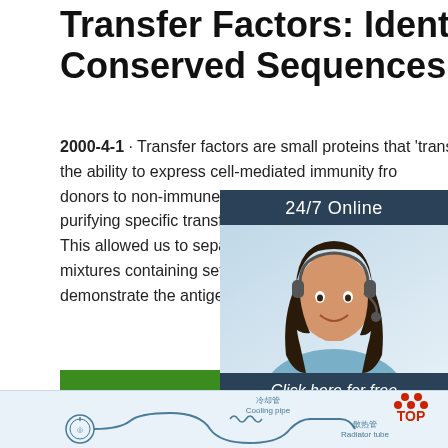Transfer Factors: Identification of Conserved Sequences in ...
2000-4-1 · Transfer factors are small proteins that 'transfer' the ability to express cell-mediated immunity from donors to non-immune recipients. We developed purifying specific transfer factors to apparent hor This allowed us to separate individual transfer fa mixtures containing several transfer factors and demonstrate the antigen-specificity of transfer ...
[Figure (other): Green 'Get Price' button]
[Figure (other): 24/7 Online chat widget with a woman wearing a headset, and a 'Click here for free chat!' message with an orange QUOTATION button]
[Figure (engineering-diagram): Engineering diagram showing cooling pipe (冷却管) and radiator tube (散热管) components, with a pressure gauge and piping schematic. 'TOP' logo in red dots visible in upper right.]